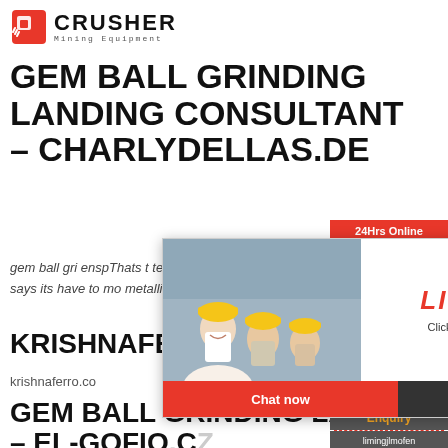CRUSHER Mining Equipment
GEM BALL GRINDING LANDING CONSULTANT – CHARLYDELLAS.DE
gem ball gri... enspThats t... technology... test says its... have to mo... metallic object
[Figure (photo): Live Chat popup overlay with workers in hard hats and a customer service agent, with 'LIVE CHAT' text, 'Click for a Free Consultation', Chat now and Chat later buttons]
KRISHNAFERRO.CO
krishnaferro.co
GEM BALL GRINDING LANDING – EL-GOFIO.C...
[Figure (infographic): Right sidebar with 24Hrs Online label, customer service agent photo, Need questions & suggestion text, Chat Now button, Enquiry link, limingjlmofen@sina.com email]